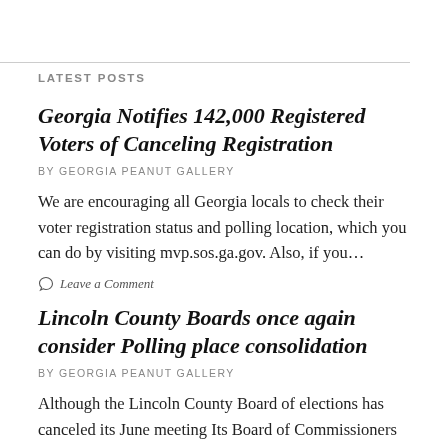LATEST POSTS
Georgia Notifies 142,000 Registered Voters of Canceling Registration
BY GEORGIA PEANUT GALLERY
We are encouraging all Georgia locals to check their voter registration status and polling location, which you can do by visiting mvp.sos.ga.gov. Also, if you…
Leave a Comment
Lincoln County Boards once again consider Polling place consolidation
BY GEORGIA PEANUT GALLERY
Although the Lincoln County Board of elections has canceled its June meeting Its Board of Commissioners has been busy. The Lincoln County Board of